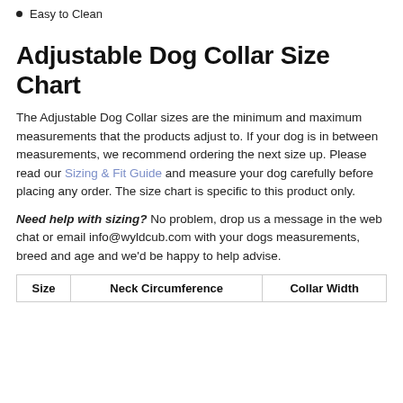Easy to Clean
Adjustable Dog Collar Size Chart
The Adjustable Dog Collar sizes are the minimum and maximum measurements that the products adjust to. If your dog is in between measurements, we recommend ordering the next size up. Please read our Sizing & Fit Guide and measure your dog carefully before placing any order. The size chart is specific to this product only.
Need help with sizing? No problem, drop us a message in the web chat or email info@wyldcub.com with your dogs measurements, breed and age and we'd be happy to help advise.
| Size | Neck Circumference | Collar Width |
| --- | --- | --- |